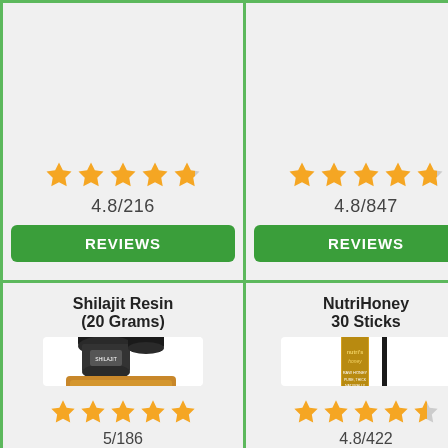[Figure (screenshot): Top-left product cell showing 4.8/216 rating with orange stars and green REVIEWS button]
[Figure (screenshot): Top-right product cell showing 4.8/847 rating with orange stars and green REVIEWS button]
[Figure (screenshot): Bottom-left product: Shilajit Resin (20 Grams) with product image, 5 orange stars, rating 5/186]
[Figure (screenshot): Bottom-right product: NutriHoney 30 Sticks with product image, 4.5 orange stars, rating 4.8/422]